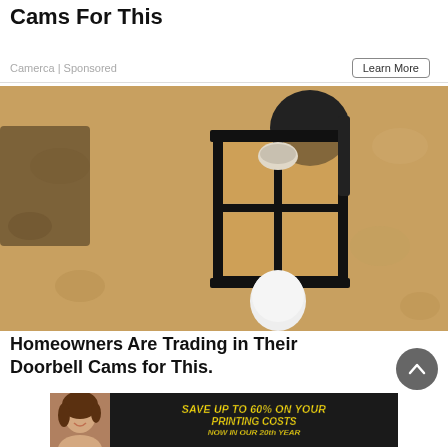Cams For This
Camerca | Sponsored
[Figure (photo): A black metal outdoor wall lantern light fixture mounted on a textured stucco wall, with a white bulb visible at the bottom. The fixture has glass panels and a dark mounting bracket.]
Homeowners Are Trading in Their Doorbell Cams for This.
[Figure (photo): Advertisement banner: woman smiling on left, text reads SAVE UP TO 60% ON YOUR PRINTING COSTS NOW IN OUR 20th YEAR in yellow bold italic on dark background.]